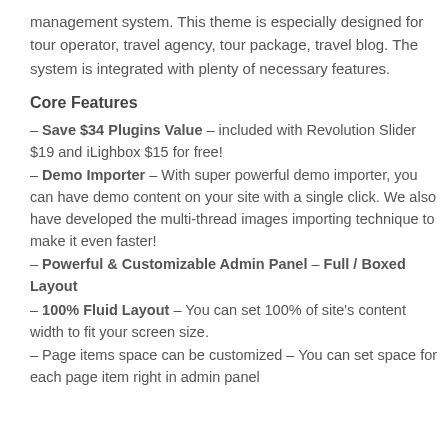management system. This theme is especially designed for tour operator, travel agency, tour package, travel blog. The system is integrated with plenty of necessary features.
Core Features
– Save $34 Plugins Value – included with Revolution Slider $19 and iLighbox $15 for free!
– Demo Importer – With super powerful demo importer, you can have demo content on your site with a single click. We also have developed the multi-thread images importing technique to make it even faster!
– Powerful & Customizable Admin Panel – Full / Boxed Layout
– 100% Fluid Layout – You can set 100% of site's content width to fit your screen size.
– Page items space can be customized – You can set space for each page item right in admin panel